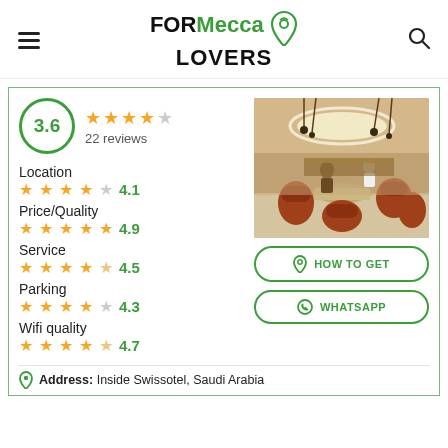FOR Mecca LOVERS
3.6 — 22 reviews
Location 4.1
Price/Quality 4.9
Service 4.5
Parking 4.3
Wifi quality 4.7
[Figure (photo): Interior of a restaurant with round ceiling light, dining tables and orange chairs]
HOW TO GET
WHATSAPP
Address: Inside Swissotel, Saudi Arabia